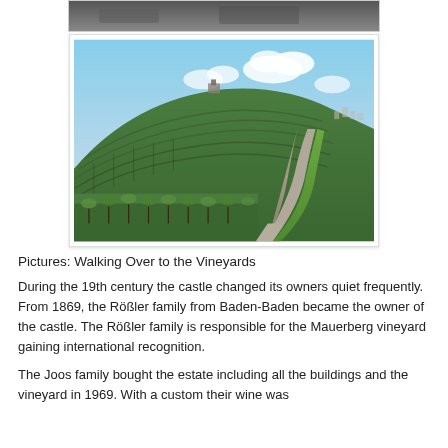[Figure (photo): Bottom portion of a photo (dark/grey tones) partially shown at top of page]
[Figure (photo): Vineyard hillside with rows of green grapevines on a terraced hill, a gravel path running along the right side, blue sky with clouds, and a town visible in the background]
Pictures: Walking Over to the Vineyards
During the 19th century the castle changed its owners quiet frequently. From 1869, the Rößler family from Baden-Baden became the owner of the castle. The Rößler family is responsible for the Mauerberg vineyard gaining international recognition.
The Joos family bought the estate including all the buildings and the vineyard in 1969. With a custom their wine was...